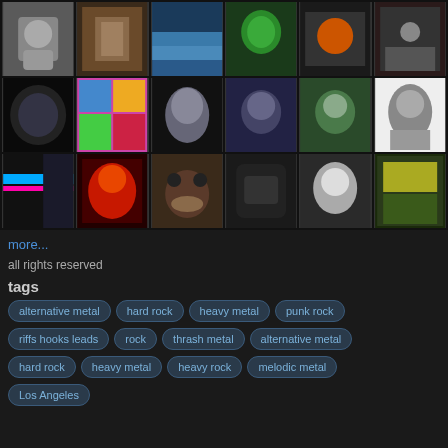[Figure (photo): Grid of 18 profile photos and images arranged in 3 rows of 6]
more...
all rights reserved
tags
alternative metal
hard rock
heavy metal
punk rock
riffs hooks leads
rock
thrash metal
alternative metal
hard rock
heavy metal
heavy rock
melodic metal
Los Angeles